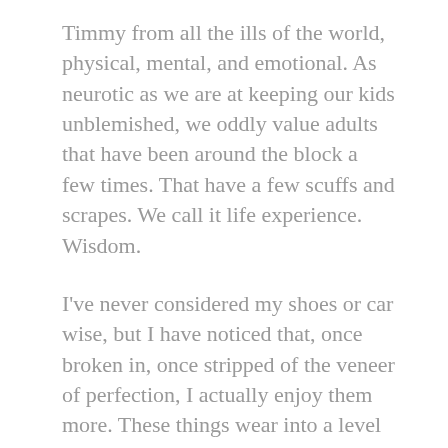Timmy from all the ills of the world, physical, mental, and emotional. As neurotic as we are at keeping our kids unblemished, we oddly value adults that have been around the block a few times. That have a few scuffs and scrapes. We call it life experience. Wisdom.
I've never considered my shoes or car wise, but I have noticed that, once broken in, once stripped of the veneer of perfection, I actually enjoy them more. These things wear into a level of comfort, of ease that brings me happiness and satisfaction. You learn the feel of the car, and you love the feel of the shoe. Not perfect, but just right.
It's a good reminder that, sometimes, the mistakes people make, the flaws they exhibit, well, that's just